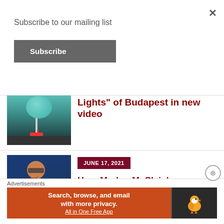Subscribe to our mailing list
Subscribe
Lights" of Budapest in new video
[Figure (photo): Photo of a teal balloon art installation in a dark garage setting with red accents on the floor]
JUNE 17, 2021
Hear Marlon McClain’s new anthem, “Funkin Cause We Wanna”
[Figure (photo): Photo of a smiling Black man wearing glasses and a blue denim jacket with patches]
Advertisements
[Figure (screenshot): DuckDuckGo advertisement banner: Search, browse, and email with more privacy. All in One Free App. DuckDuckGo logo on dark background.]